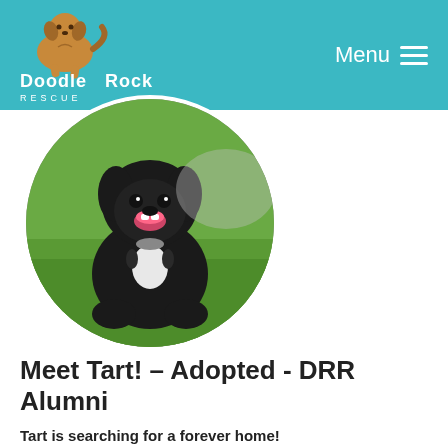Doodle Rock Rescue | Menu
[Figure (photo): Circular photo of a black and white Sheepadoodle dog sitting on green grass, smiling with mouth open]
Meet Tart! – Adopted - DRR Alumni
Tart is searching for a forever home!
Breed: Sheepadoodle
Sex: Female
Weight: 25 lbs